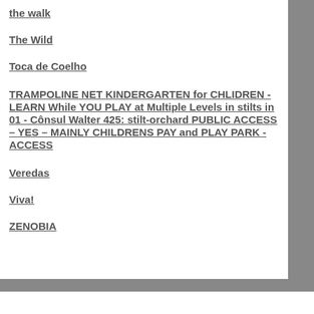the walk
The Wild
Toca de Coelho
TRAMPOLINE NET KINDERGARTEN for CHLIDREN - LEARN While YOU PLAY at Multiple Levels in stilts in 01 - Cônsul Walter 425: stilt-orchard PUBLIC ACCESS – YES – MAINLY CHILDRENS PAY and PLAY PARK - ACCESS
Veredas
Viva!
ZENOBIA